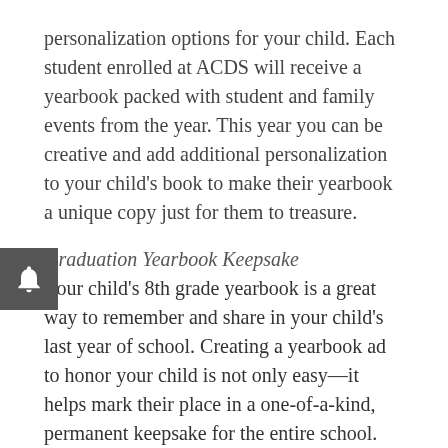personalization options for your child. Each student enrolled at ACDS will receive a yearbook packed with student and family events from the year. This year you can be creative and add additional personalization to your child's book to make their yearbook a unique copy just for them to treasure.
Graduation Yearbook Keepsake
Your child's 8th grade yearbook is a great way to remember and share in your child's last year of school. Creating a yearbook ad to honor your child is not only easy—it helps mark their place in a one-of-a-kind, permanent keepsake for the entire school. Ads may be created online or using the yearbook ad form. Create your ad by October 31 for special early bird pricing.
Yearbook Business Listing
Let other ACDS families know about your business